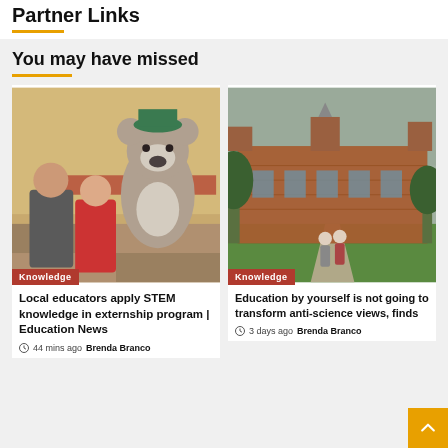Partner Links
You may have missed
[Figure (photo): Two girls posing with a koala mascot costume character inside a gymnasium. Knowledge badge visible at bottom left.]
[Figure (photo): A historic brick university or manor building exterior with two people walking on a path, with green lawn and trees. Knowledge badge visible at bottom left.]
Local educators apply STEM knowledge in externship program | Education News
Education by yourself is not going to transform anti-science views, finds
44 mins ago  Brenda Branco
3 days ago  Brenda Branco